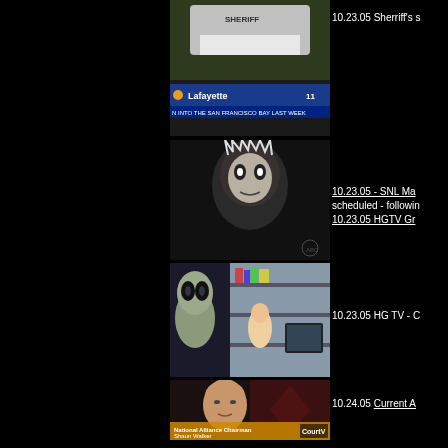[Figure (screenshot): TV screenshot showing a Sheriff's vehicle with Lafayette location chyron and NBC11 logo, ticker text about San Francisco Bay]
10.23.05 Sherriff's s
[Figure (screenshot): TV screenshot showing a dark figure/character close-up, grainy footage]
10.23.05 - SNL Ma scheduled - followin 10.23.05 HGTV Gr
[Figure (screenshot): TV screenshot showing a child's bedroom with an alien figure]
10.23.05 HG TV - C
[Figure (screenshot): TV screenshot of a bald man identified as National Alliance Chairman Shaun Walker on Court TV]
10.24.05 Current A
[Figure (screenshot): Partial TV screenshot at bottom, outdoor scene]